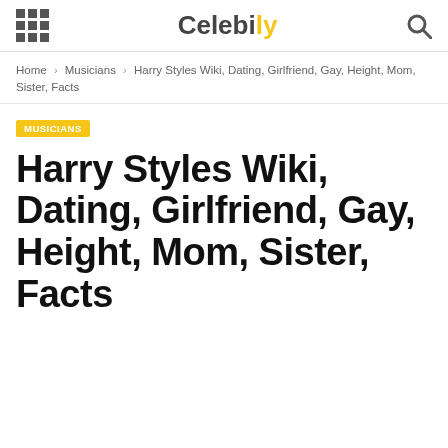Celebily
Home › Musicians › Harry Styles Wiki, Dating, Girlfriend, Gay, Height, Mom, Sister, Facts
MUSICIANS
Harry Styles Wiki, Dating, Girlfriend, Gay, Height, Mom, Sister, Facts